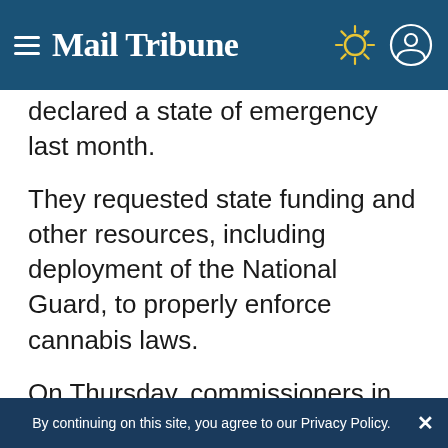Mail Tribune
declared a state of emergency last month.
They requested state funding and other resources, including deployment of the National Guard, to properly enforce cannabis laws.
On Thursday, commissioners in neighboring Josephine County said they are preparing their own emergency declaration. A draft document cites “rampant violations of county codes, state water laws and criminal laws.” They previously
By continuing on this site, you agree to our Privacy Policy.